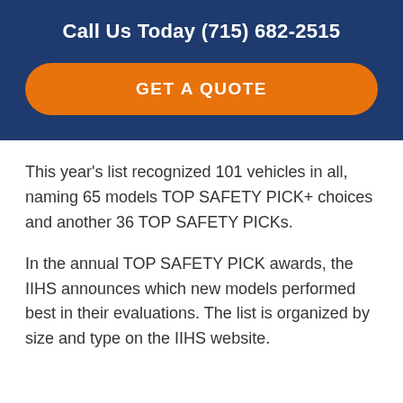Call Us Today (715) 682-2515
GET A QUOTE
This year's list recognized 101 vehicles in all, naming 65 models TOP SAFETY PICK+ choices and another 36 TOP SAFETY PICKs.
In the annual TOP SAFETY PICK awards, the IIHS announces which new models performed best in their evaluations. The list is organized by size and type on the IIHS website.